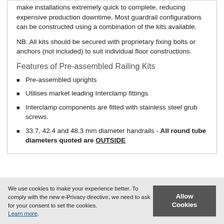make installations extremely quick to complete, reducing expensive production downtime. Most guardrail configurations can be constructed using a combination of the kits available.
NB. All kits should be secured with proprietary fixing bolts or anchors (not included) to suit individual floor constructions.
Features of Pre-assembled Railing Kits
Pre-assembled uprights
Utilises market leading Interclamp fittings
Interclamp components are fitted with stainless steel grub screws.
33.7, 42.4 and 48.3 mm diameter handrails - All round tube diameters quoted are OUTSIDE
We use cookies to make your experience better. To comply with the new e-Privacy directive, we need to ask for your consent to set the cookies. Learn more.